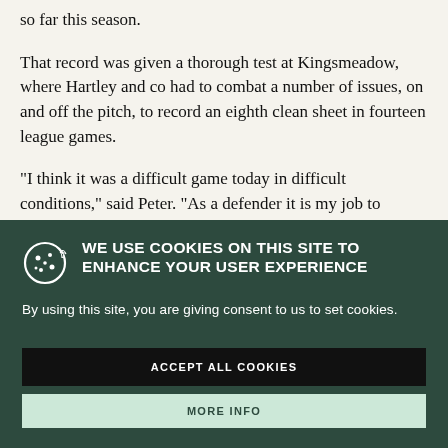so far this season.
That record was given a thorough test at Kingsmeadow, where Hartley and co had to combat a number of issues, on and off the pitch, to record an eighth clean sheet in fourteen league games.
“I think it was a difficult game today in difficult conditions,” said Peter. “As a defender it is my job to
[Figure (other): Cookie consent overlay on a dark green background. Contains a cookie icon, heading 'WE USE COOKIES ON THIS SITE TO ENHANCE YOUR USER EXPERIENCE', body text 'By using this site, you are giving consent to us to set cookies.', a black 'ACCEPT ALL COOKIES' button, and a light green 'MORE INFO' button.]